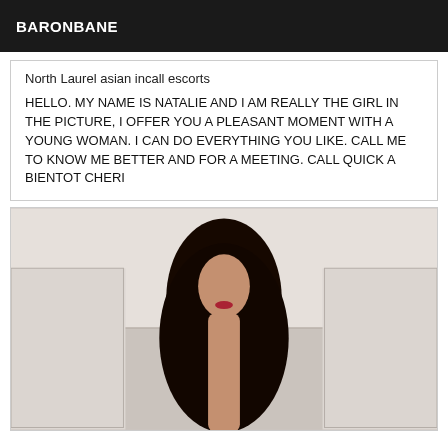BARONBANE
North Laurel asian incall escorts
HELLO. MY NAME IS NATALIE AND I AM REALLY THE GIRL IN THE PICTURE, I OFFER YOU A PLEASANT MOMENT WITH A YOUNG WOMAN. I CAN DO EVERYTHING YOU LIKE. CALL ME TO KNOW ME BETTER AND FOR A MEETING. CALL QUICK A BIENTOT CHERI
[Figure (photo): A woman with long dark hair and red lips standing in front of white doors against a light-colored wall background.]